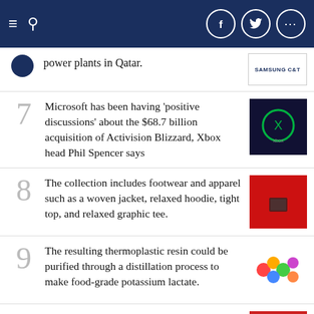Navigation header with hamburger menu, search icon, Facebook, Twitter, and more social icons
power plants in Qatar.
7 Microsoft has been having 'positive discussions' about the $68.7 billion acquisition of Activision Blizzard, Xbox head Phil Spencer says
8 The collection includes footwear and apparel such as a woven jacket, relaxed hoodie, tight top, and relaxed graphic tee.
9 The resulting thermoplastic resin could be purified through a distillation process to make food-grade potassium lactate.
10 Bachelet called on Putin to end armed action on Ukraine in her speech, while stressing the importance of documentation to prove war crimes.